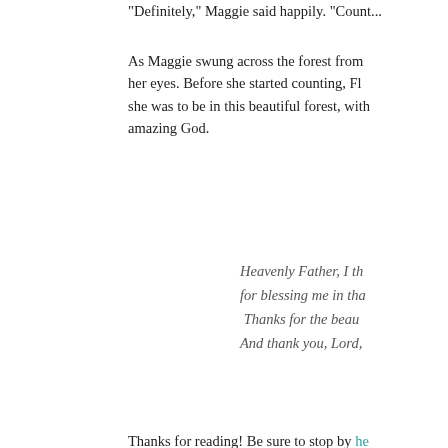"Definitely," Maggie said happily. "Count...
As Maggie swung across the forest from her eyes. Before she started counting, Fl she was to be in this beautiful forest, with amazing God.
Heavenly Father, I th for blessing me in tha Thanks for the beau And thank you, Lord,
Thanks for reading! Be sure to stop by he contribute your own!
Posted by Joanne Sher at November 28,
[Figure (other): Social sharing icons: Email, BlogThis, Twitter, Facebook, Pinterest]
Labels: fiction
6 comments: